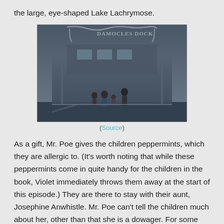the large, eye-shaped Lake Lachrymose.
[Figure (photo): Scene from A Series of Unfortunate Events TV show: three children and a tall man in a suit standing at what appears to be Damocles Dock, a ship dock with ornate iron lettering above them. The image has a dark, gloomy tone.]
(Source)
As a gift, Mr. Poe gives the children peppermints, which they are allergic to. (It's worth noting that while these peppermints come in quite handy for the children in the book, Violet immediately throws them away at the start of this episode.) They are there to stay with their aunt, Josephine Anwhistle. Mr. Poe can't tell the children much about her, other than that she is a dowager. For some